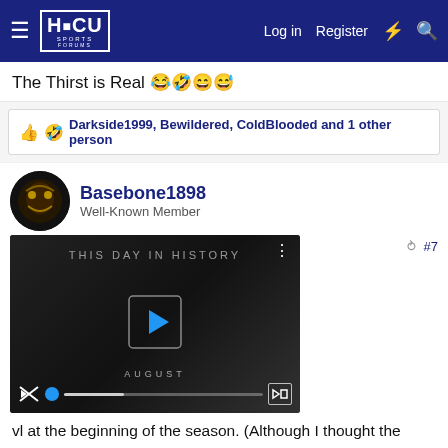HBCU Sports Forums — Log in | Register
The Thirst is Real 😂🤣😂😅
Darkside1999, Bewildered, ColdBlooded and 1 other person
Basebone1898 — Well-Known Member
[Figure (screenshot): Video thumbnail showing 'THIS DAY IN HISTORY' text with 'AUGUST' label, play button, mute icon, progress bar, and fullscreen button on dark background]
...vl at the beginning of the season. (Although I thought the would face Norfolk State.) Why? Because I truly believed that the pressure and hype would catch up with them against a hungry MEAC Champion fighting for the entire conference. That's what I saw.